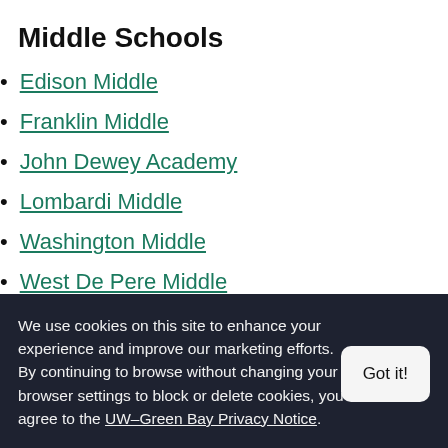Edison Middle
Middle Schools
Edison Middle
Franklin Middle
John Dewey Academy
Lombardi Middle
Washington Middle
West De Pere Middle
We use cookies on this site to enhance your experience and improve our marketing efforts. By continuing to browse without changing your browser settings to block or delete cookies, you agree to the UW–Green Bay Privacy Notice.